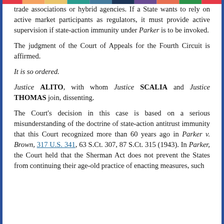trade associations or hybrid agencies. If a State wants to rely on active market participants as regulators, it must provide active supervision if state-action immunity under Parker is to be invoked.
The judgment of the Court of Appeals for the Fourth Circuit is affirmed.
It is so ordered.
Justice ALITO, with whom Justice SCALIA and Justice THOMAS join, dissenting.
The Court's decision in this case is based on a serious misunderstanding of the doctrine of state-action antitrust immunity that this Court recognized more than 60 years ago in Parker v. Brown, 317 U.S. 341, 63 S.Ct. 307, 87 S.Ct. 315 (1943). In Parker, the Court held that the Sherman Act does not prevent the States from continuing their age-old practice of enacting measures, such